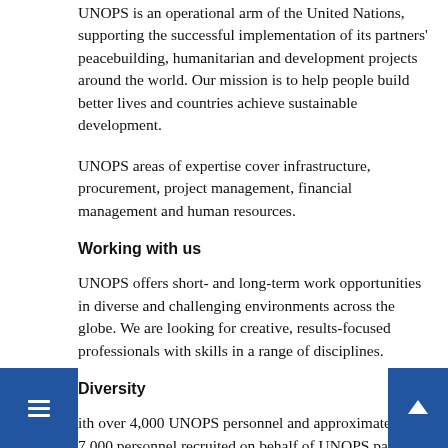UNOPS is an operational arm of the United Nations, supporting the successful implementation of its partners' peacebuilding, humanitarian and development projects around the world. Our mission is to help people build better lives and countries achieve sustainable development.
UNOPS areas of expertise cover infrastructure, procurement, project management, financial management and human resources.
Working with us
UNOPS offers short- and long-term work opportunities in diverse and challenging environments across the globe. We are looking for creative, results-focused professionals with skills in a range of disciplines.
Diversity
With over 4,000 UNOPS personnel and approximately 7,000 personnel recruited on behalf of UNOPS partners